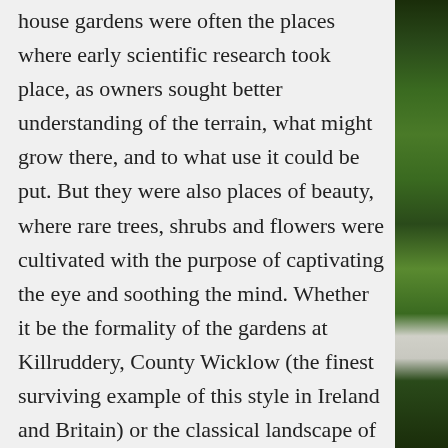house gardens were often the places where early scientific research took place, as owners sought better understanding of the terrain, what might grow there, and to what use it could be put. But they were also places of beauty, where rare trees, shrubs and flowers were cultivated with the purpose of captivating the eye and soothing the mind. Whether it be the formality of the gardens at Killruddery, County Wicklow (the finest surviving example of this style in Ireland and Britain) or the classical landscape of Ballyfin, County Laois, the grandeur of Powerscourt, County Wicklow or the Robinsonian romance of Mount Usher, County Wicklow, Ireland has a wealth of spectacular historic gardens, all of which benefit from our rich soil and temperate climate, as well as ample rainfall.